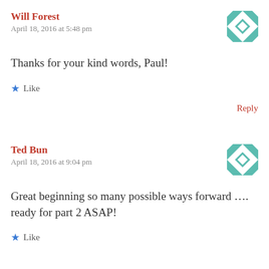Will Forest
April 18, 2016 at 5:48 pm
[Figure (illustration): Teal and white geometric avatar icon for Will Forest]
Thanks for your kind words, Paul!
Like
Reply
Ted Bun
April 18, 2016 at 9:04 pm
[Figure (illustration): Teal and white geometric avatar icon for Ted Bun]
Great beginning so many possible ways forward …. ready for part 2 ASAP!
Like